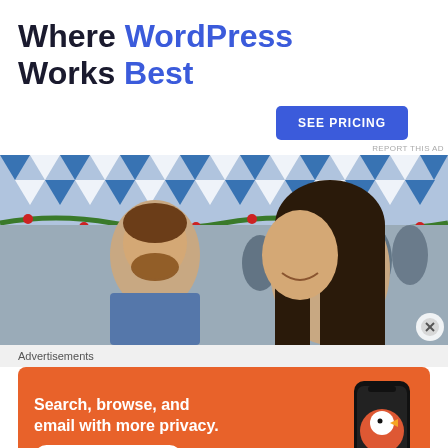Where WordPress Works Best
SEE PRICING
REPORT THIS AD
[Figure (photo): Crowd of people at an outdoor festival, Bavarian-style blue and white diamond tent canopy visible in background with garland decorations. Two people in foreground: a young man with beard looking sideways and a smiling woman with long dark hair.]
Advertisements
[Figure (infographic): DuckDuckGo advertisement on orange background. Text: 'Search, browse, and email with more privacy. All in One Free App'. Shows a phone with DuckDuckGo logo and 'DuckDuckGo.' brand name.]
REPORT THIS AD